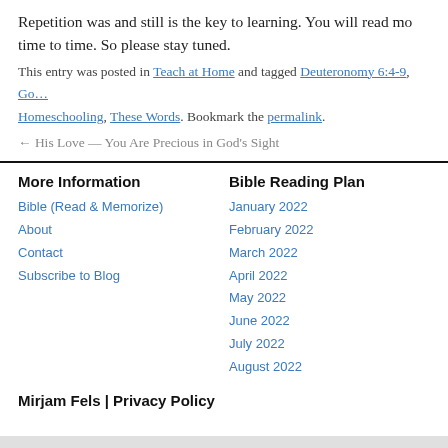Repetition was and still is the key to learning. You will read mo… time to time. So please stay tuned.
This entry was posted in Teach at Home and tagged Deuteronomy 6:4-9, Go… Homeschooling, These Words. Bookmark the permalink.
← His Love — You Are Precious in God's Sight
More Information
Bible (Read & Memorize)
About
Contact
Subscribe to Blog
Bible Reading Plan
January 2022
February 2022
March 2022
April 2022
May 2022
June 2022
July 2022
August 2022
Mirjam Fels  |  Privacy Policy